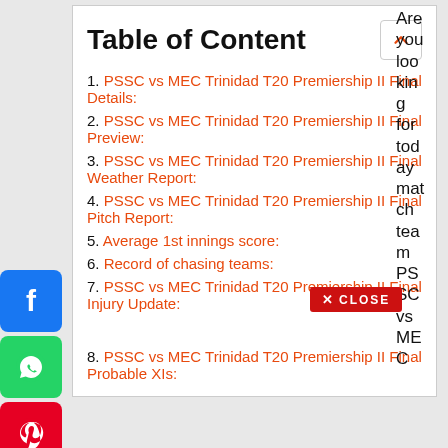Table of Content
1. PSSC vs MEC Trinidad T20 Premiership II Final Details:
2. PSSC vs MEC Trinidad T20 Premiership II Final Preview:
3. PSSC vs MEC Trinidad T20 Premiership II Final Weather Report:
4. PSSC vs MEC Trinidad T20 Premiership II Final Pitch Report:
5. Average 1st innings score:
6. Record of chasing teams:
7. PSSC vs MEC Trinidad T20 Premiership II Final Injury Update:
8. PSSC vs MEC Trinidad T20 Premiership II Final Probable XIs:
Are you looking for today match team PSSC vs MEC